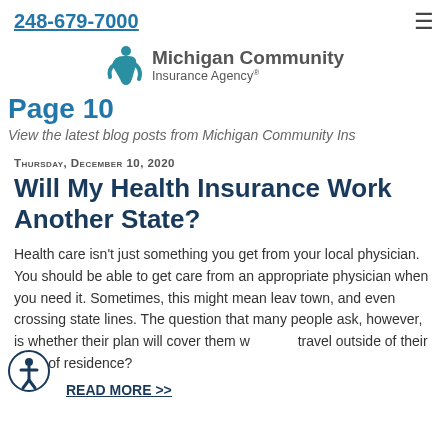248-679-7000
[Figure (logo): Michigan Community Insurance Agency logo with stylized person icon]
Page 10
View the latest blog posts from Michigan Community Ins...
Thursday, December 10, 2020
Will My Health Insurance Work in Another State?
Health care isn't just something you get from your local physician. You should be able to get care from an appropriate physician when you need it. Sometimes, this might mean leaving town, and even crossing state lines. The question that many people ask, however, is whether their plan will cover them when they travel outside of their state of residence?
READ MORE >>